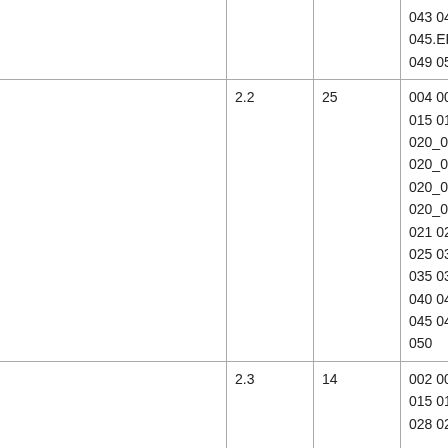|  |  |  |  |
| --- | --- | --- | --- |
|  |  | 043 04
045.ER
049 05 |  |
| 2.2 | 25 | 004 00
015 01
020_0
020_0
020_0
020_0
021 02
025 03
035 03
040 04
045 04
050 |  |
| 2.3 | 14 | 002 00
015 01
028 02 |  |